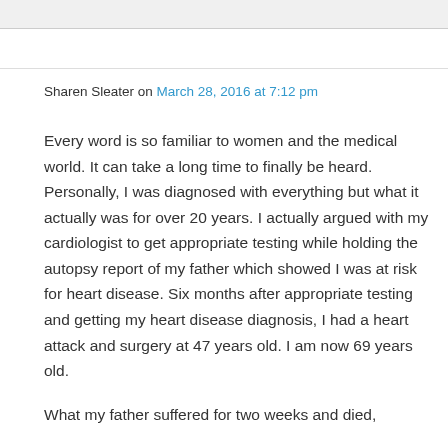Sharen Sleater on March 28, 2016 at 7:12 pm
Every word is so familiar to women and the medical world. It can take a long time to finally be heard. Personally, I was diagnosed with everything but what it actually was for over 20 years. I actually argued with my cardiologist to get appropriate testing while holding the autopsy report of my father which showed I was at risk for heart disease. Six months after appropriate testing and getting my heart disease diagnosis, I had a heart attack and surgery at 47 years old. I am now 69 years old.
What my father suffered for two weeks and died,